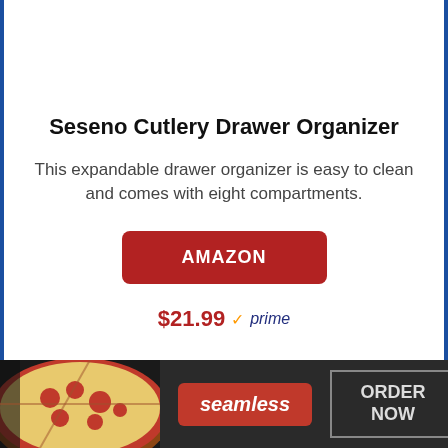Seseno Cutlery Drawer Organizer
This expandable drawer organizer is easy to clean and comes with eight compartments.
AMAZON
$21.99 ✓prime
[Figure (screenshot): Advertisement banner for Seamless food delivery showing pizza image, red Seamless button, and ORDER NOW button on dark background]